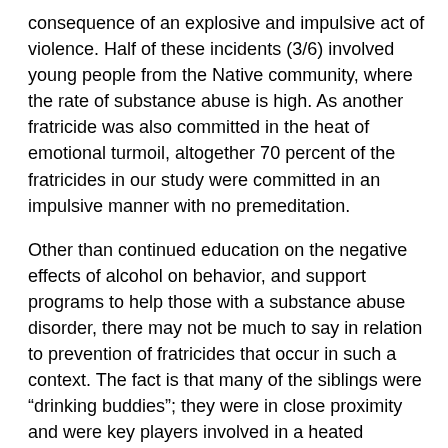consequence of an explosive and impulsive act of violence. Half of these incidents (3/6) involved young people from the Native community, where the rate of substance abuse is high. As another fratricide was also committed in the heat of emotional turmoil, altogether 70 percent of the fratricides in our study were committed in an impulsive manner with no premeditation.
Other than continued education on the negative effects of alcohol on behavior, and support programs to help those with a substance abuse disorder, there may not be much to say in relation to prevention of fratricides that occur in such a context. The fact is that many of the siblings were “drinking buddies”; they were in close proximity and were key players involved in a heated argument. Their murders, even if they were impulsive, might ultimately represent an extreme manifestation of sibling dynamics with high expressed emotions and some degree of rivalry. The latter hypothesis needs further scrutiny.